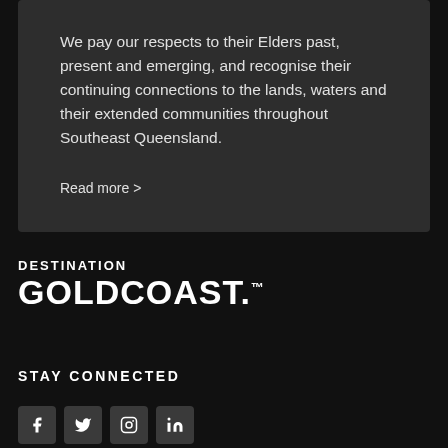We pay our respects to their Elders past, present and emerging, and recognise their continuing connections to the lands, waters and their extended communities throughout Southeast Queensland.
Read more >
[Figure (logo): Destination Gold Coast logo with 'DESTINATION' in small caps above 'GOLDCOAST.' in large bold text with trademark symbol]
STAY CONNECTED
[Figure (infographic): Four social media icons in dark square boxes: Facebook (f), Twitter (bird), Instagram (camera), LinkedIn (in)]